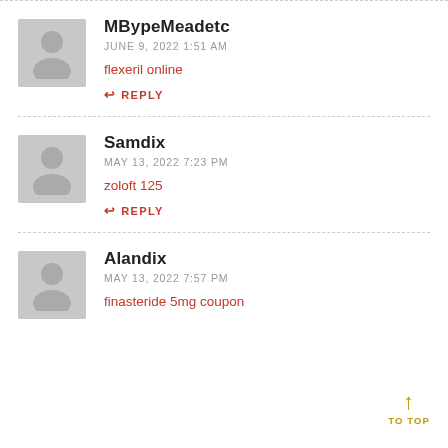MBypeMeadetc
JUNE 9, 2022 1:51 AM
flexeril online
↩ REPLY
Samdix
MAY 13, 2022 7:23 PM
zoloft 125
↩ REPLY
Alandix
MAY 13, 2022 7:57 PM
finasteride 5mg coupon
↑ TO TOP